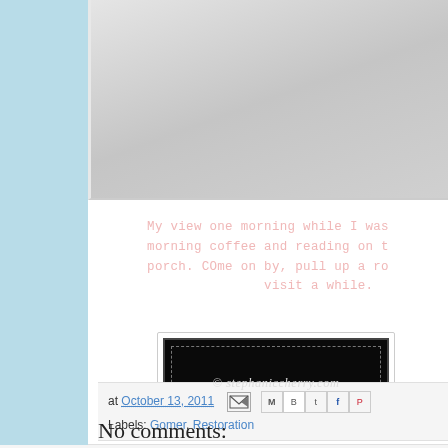[Figure (photo): Top portion of a photo, appears to show a porch or outdoor scene, partially visible at top of page, gray/silver tones]
My view one morning while I was morning coffee and reading on t porch. COme on by, pull up a ro visit a while.
[Figure (illustration): Copyright watermark on dark background with decorative border, dashed frame, and ornamental bottom pattern. Text reads: © stephaniccherry.com]
at October 13, 2011
Labels: Gomer, Restoration
No comments:
Post a Comment